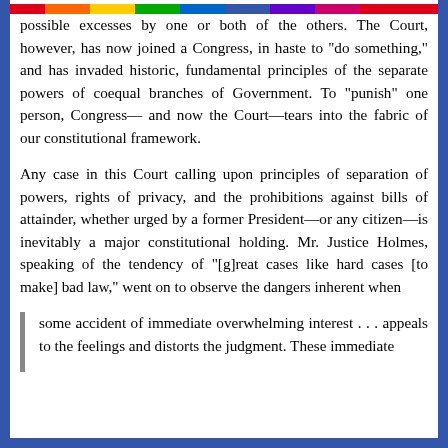possible excesses by one or both of the others. The Court, however, has now joined a Congress, in haste to "do something," and has invaded historic, fundamental principles of the separate powers of coequal branches of Government. To "punish" one person, Congress— and now the Court—tears into the fabric of our constitutional framework.
Any case in this Court calling upon principles of separation of powers, rights of privacy, and the prohibitions against bills of attainder, whether urged by a former President—or any citizen—is inevitably a major constitutional holding. Mr. Justice Holmes, speaking of the tendency of "[g]reat cases like hard cases [to make] bad law," went on to observe the dangers inherent when
some accident of immediate overwhelming interest . . . appeals to the feelings and distorts the judgment. These immediate